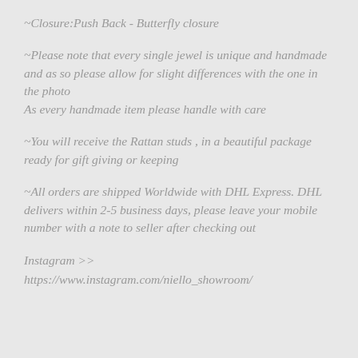~Closure:Push Back - Butterfly closure
~Please note that every single jewel is unique and handmade and as so please allow for slight differences with the one in the photo
As every handmade item please handle with care
~You will receive the Rattan studs , in a beautiful package ready for gift giving or keeping
~All orders are shipped Worldwide with DHL Express. DHL delivers within 2-5 business days, please leave your mobile number with a note to seller after checking out
Instagram >>
https://www.instagram.com/niello_showroom/